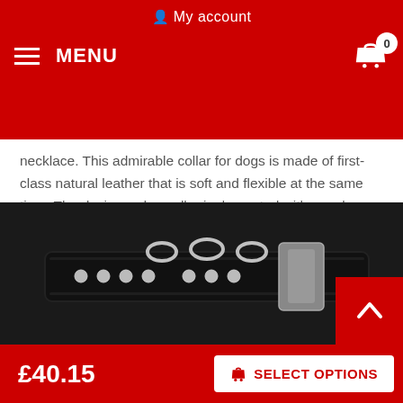My account
MENU
necklace. This admirable collar for dogs is made of first-class natural leather that is soft and flexible at the same time. The designer dog collar is decorated with evenly arranged chrome plated shiny stars and studs that look as if they were made of silver. The adornments are riveted into the leather and will never fall out. The collar has high-quality rust resistant fittings.
Click on the pictures to see a bigger image
[Figure (photo): Close-up photo of a black leather dog collar with chrome/silver metal studs and D-ring fittings against a dark background.]
£40.15  SELECT OPTIONS